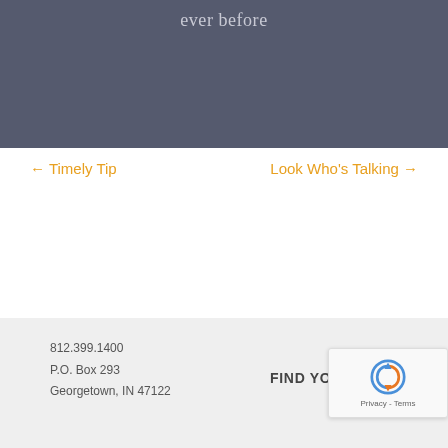ever before
← Timely Tip
Look Who's Talking →
812.399.1400
P.O. Box 293
Georgetown, IN 47122
FIND YOUR POSITIO…